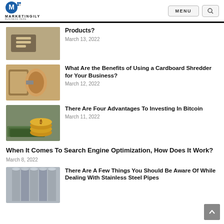MARKETINGILY — MENU [search]
Products? — March 13, 2022
What Are the Benefits of Using a Cardboard Shredder for Your Business? — March 12, 2022
There Are Four Advantages To Investing In Bitcoin — March 11, 2022
When It Comes To Search Engine Optimization, How Does It Work? — March 8, 2022
There Are A Few Things You Should Be Aware Of While Dealing With Stainless Steel Pipes